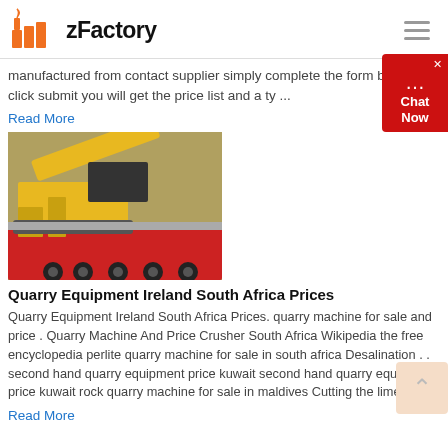zFactory
manufactured from contact supplier simply complete the form below click submit you will get the price list and a ty ...
Read More
[Figure (photo): Yellow quarry/mining machine on a red flatbed truck]
Quarry Equipment Ireland South Africa Prices
Quarry Equipment Ireland South Africa Prices. quarry machine for sale and price . Quarry Machine And Price Crusher South Africa Wikipedia the free encyclopedia perlite quarry machine for sale in south africa Desalination . . second hand quarry equipment price kuwait second hand quarry equipment price kuwait rock quarry machine for sale in maldives Cutting the limestone
Read More